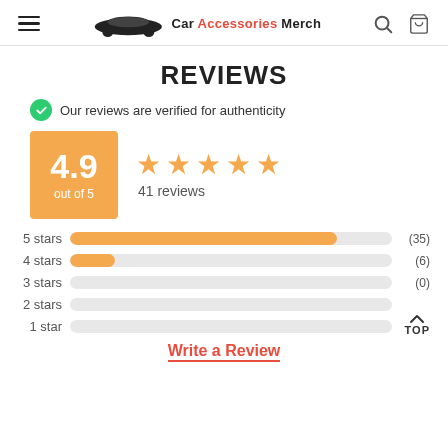Car Accessories Merch
REVIEWS
Our reviews are verified for authenticity
[Figure (infographic): Rating box showing 4.9 out of 5 with 5 orange stars and 41 reviews]
[Figure (bar-chart): Star rating breakdown]
Write a Review